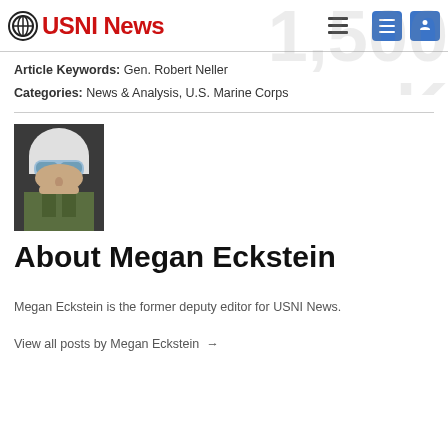USNI News
Article Keywords: Gen. Robert Neller
Categories: News & Analysis, U.S. Marine Corps
[Figure (photo): Profile photo of Megan Eckstein wearing a white helmet and flight goggles]
About Megan Eckstein
Megan Eckstein is the former deputy editor for USNI News.
View all posts by Megan Eckstein →